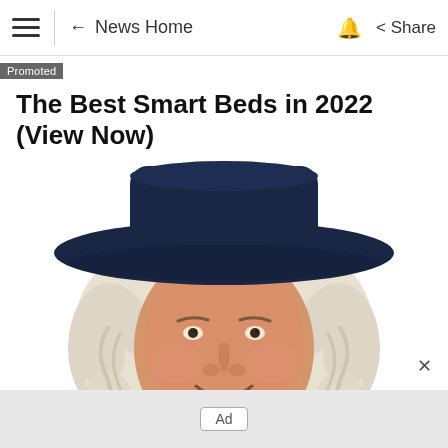≡  ← News Home  🔔  < Share
Promoted
The Best Smart Beds in 2022 (View Now)
Smart Bed | Search Ads
[Figure (illustration): Illustrated portrait of a smiling older man with white curly hair wearing a large dark navy blue wide-brim hat, resembling the Quaker Oats mascot style]
Ad